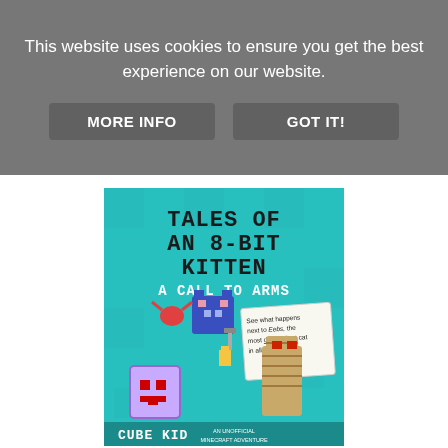This website uses cookies to ensure you get the best experience on our website.
MORE INFO
GOT IT!
[Figure (illustration): Book cover for 'Tales of an 8-Bit Kitten: A Call to Arms' by Cube Kid. Teal background with pixelated Minecraft-style characters including a blue cat, a mummy, and a ghost-like cube. Title in pixel font at top. Subtitle 'A Call to Arms' in white. Note reads 'See what happens next to Eebs, the most disobedient cat in all of Minecraft.' Bottom shows author name 'CUBE KID' and 'AN UNOFFICIAL MINECRAFT ADVENTURE'.]